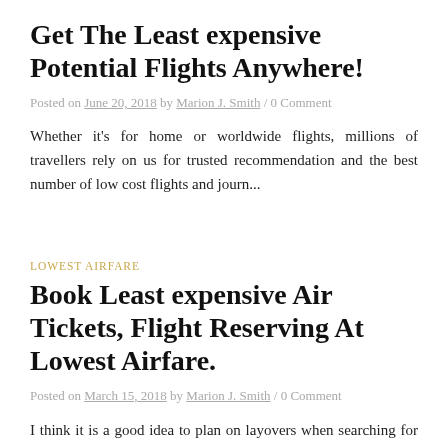Get The Least expensive Potential Flights Anywhere!
Posted on June 20, 2018 by Marion J. Smith / 0 Comment
Whether it's for home or worldwide flights, millions of travellers rely on us for trusted recommendation and the best number of low cost flights and journ...
LOWEST AIRFARE
Book Least expensive Air Tickets, Flight Reserving At Lowest Airfare.
Posted on March 15, 2018 by Marion J. Smith / 0 Comment
I think it is a good idea to plan on layovers when searching for deals on flights. This isn't a new